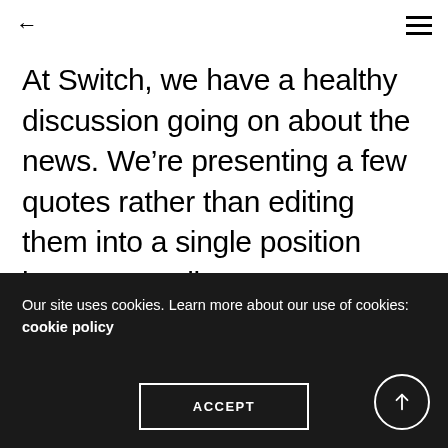← ≡
At Switch, we have a healthy discussion going on about the news. We're presenting a few quotes rather than editing them into a single position because, well, we're not vanilla.
Our site uses cookies. Learn more about our use of cookies: cookie policy
ACCEPT